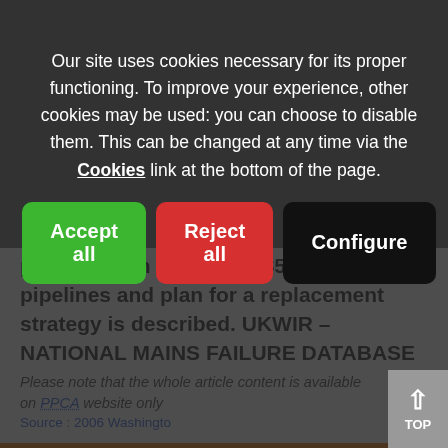Our site uses cookies necessary for its proper functioning. To improve your experience, other cookies may be used: you can choose to disable them. This can be changed at any time via the Cookies link at the bottom of the page.
Accept all | Reject all | Configure
problem with old (pre 1985) PVC pipelines and plan for a replacement strategy is described. UKWIR – NATIONAL MAINS FAILURE DATABASE
Please note that the whole article content is available on PPCA website only
Source : 2006 Washingto